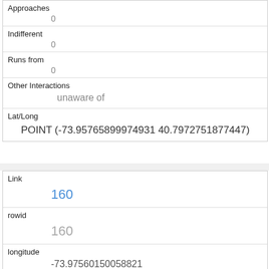| Approaches | 0 |
| Indifferent | 0 |
| Runs from | 0 |
| Other Interactions | unaware of |
| Lat/Long | POINT (-73.95765899974931 40.7972751877447) |
| Link | 160 |
| rowid | 160 |
| longitude | -73.97560150058821 |
| latitude | 40.76700903277736 |
| Unique Squirrel ID |  |